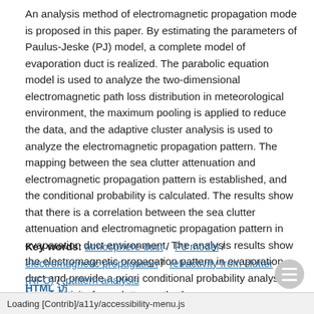An analysis method of electromagnetic propagation mode is proposed in this paper. By estimating the parameters of Paulus-Jeske (PJ) model, a complete model of evaporation duct is realized. The parabolic equation model is used to analyze the two-dimensional electromagnetic path loss distribution in meteorological environment, the maximum pooling is applied to reduce the data, and the adaptive cluster analysis is used to analyze the electromagnetic propagation pattern. The mapping between the sea clutter attenuation and electromagnetic propagation pattern is established, and the conditional probability is calculated. The results show that there is a correlation between the sea clutter attenuation and electromagnetic propagation pattern in evaporation duct environment. The analysis results show the electromagnetic propagation pattern in evaporation duct and provide a priori conditional probability analysis for refractivity from clutter method.
Key words: atmosphere duct / PJ model / electromagnetic propagation / refractivity from clutter (RFC) / pattern analysis
HTML 访
Loading [Contrib]/a11y/accessibility-menu.js